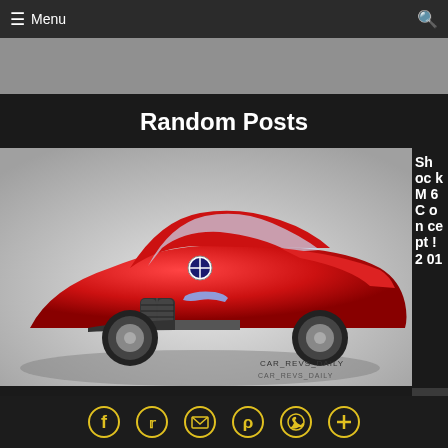≡ Menu
Random Posts
[Figure (photo): Red BMW 3.0 CSL Hommage concept car render on gray background, with CAR_REVS_DAILY watermark. A red sports car with BMW kidney grille, blue headlights, and aggressive styling.]
Shock M6 Concept! 201
5 BMW 3.0 CSL Hommage – Design Analysis + Rendered Colorizer
Social icons: Facebook, Twitter, Email, Pinterest, WhatsApp, Plus